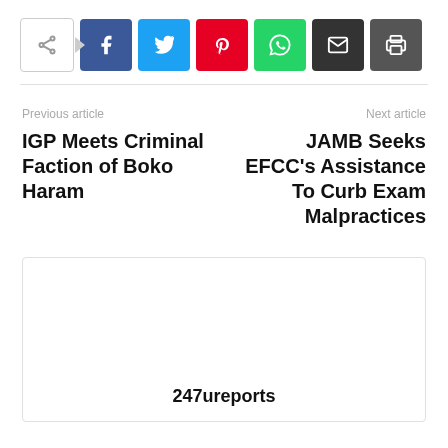[Figure (screenshot): Social share bar with share toggle button and colored social media buttons: Facebook (blue), Twitter (cyan), Pinterest (red), WhatsApp (green), Email (black), Print (dark grey)]
Previous article
Next article
IGP Meets Criminal Faction of Boko Haram
JAMB Seeks EFCC's Assistance To Curb Exam Malpractices
247ureports